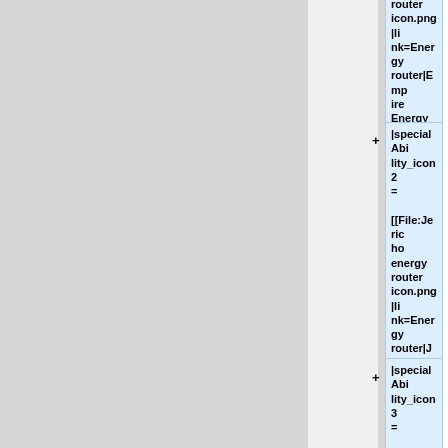router icon.png|link=Energy router|Empire Energy router]]
|specialAbility_icon2 = [[File:Jericho energy router icon.png|link=Energy router|Jericho Energy router]]
|specialAbility_icon3 = [[File:Federation energy router